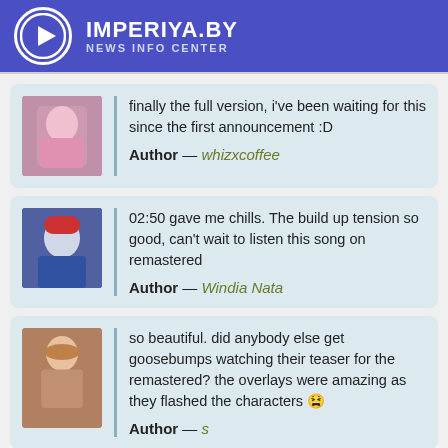IMPERIYA.BY NEWS INFO CENTER
finally the full version, i've been waiting for this since the first announcement :D
Author — whizxcoffee
02:50 gave me chills. The build up tension so good, can't wait to listen this song on remastered
Author — Windia Nata
so beautiful. did anybody else get goosebumps watching their teaser for the remastered? the overlays were amazing as they flashed the characters 😫
Author — s
The cloud's a sculpture made of water